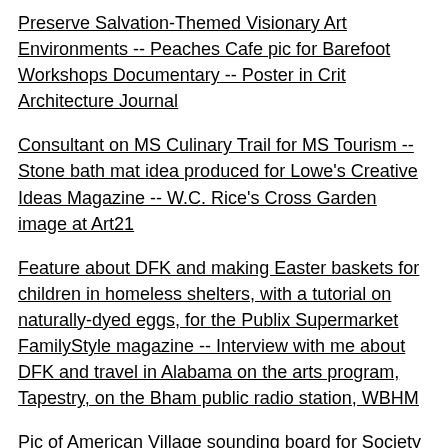Preserve Salvation-Themed Visionary Art Environments -- Peaches Cafe pic for Barefoot Workshops Documentary -- Poster in Crit Architecture Journal
Consultant on MS Culinary Trail for MS Tourism -- Stone bath mat idea produced for Lowe's Creative Ideas Magazine -- W.C. Rice's Cross Garden image at Art21
Feature about DFK and making Easter baskets for children in homeless shelters, with a tutorial on naturally-dyed eggs, for the Publix Supermarket FamilyStyle magazine -- Interview with me about DFK and travel in Alabama on the arts program, Tapestry, on the Bham public radio station, WBHM
Pic of American Village sounding board for Society of Colonial Wars book -- Adjudicated grant applications for folk art fellowship, apprenticeship and roster for the Mississippi Arts Commission -- Koolickle for